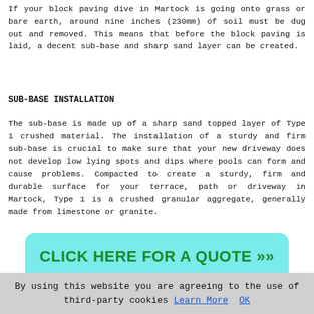If your block paving dive in Martock is going onto grass or bare earth, around nine inches (230mm) of soil must be dug out and removed. This means that before the block paving is laid, a decent sub-base and sharp sand layer can be created.
SUB-BASE INSTALLATION
The sub-base is made up of a sharp sand topped layer of Type 1 crushed material. The installation of a sturdy and firm sub-base is crucial to make sure that your new driveway does not develop low lying spots and dips where pools can form and cause problems. Compacted to create a sturdy, firm and durable surface for your terrace, path or driveway in Martock, Type 1 is a crushed granular aggregate, generally made from limestone or granite.
[Figure (other): Green call-to-action button with teal background reading CLICK HERE FOR A QUOTE >>]
During this phase of the installation process any potential drainage issues will be taken care of. A gradient or fall
By using this website you are agreeing to the use of third-party cookies Learn More  OK